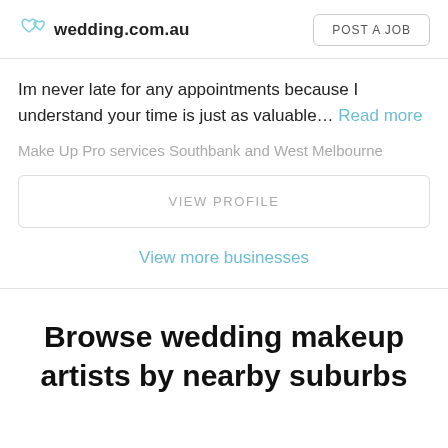wedding.com.au  POST A JOB
Im never late for any appointments because I understand your time is just as valuable... Read more
Make Up Pro services Southbank and West Melbourne
VIEW PROFILE
View more businesses
Browse wedding makeup artists by nearby suburbs